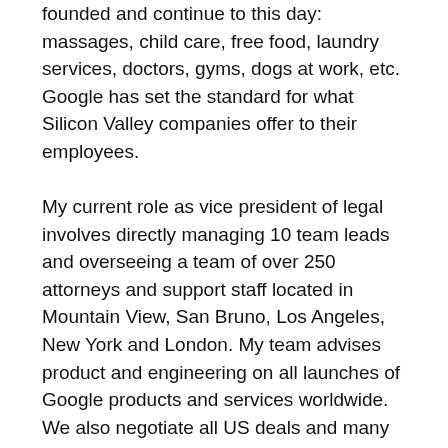founded and continue to this day: massages, child care, free food, laundry services, doctors, gyms, dogs at work, etc. Google has set the standard for what Silicon Valley companies offer to their employees.
My current role as vice president of legal involves directly managing 10 team leads and overseeing a team of over 250 attorneys and support staff located in Mountain View, San Bruno, Los Angeles, New York and London. My team advises product and engineering on all launches of Google products and services worldwide. We also negotiate all US deals and many European deals for all of our product areas.
The thing I find most challenging about my job is overseeing such a diverse set of products and services. We have nine separate product areas and